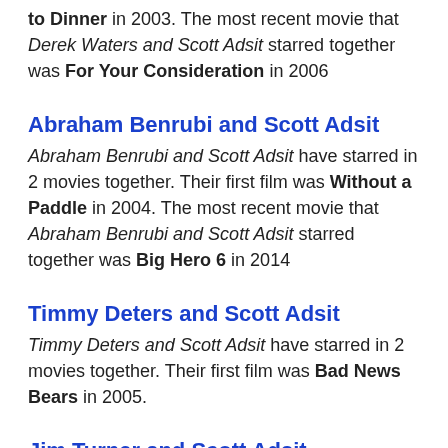to Dinner in 2003. The most recent movie that Derek Waters and Scott Adsit starred together was For Your Consideration in 2006
Abraham Benrubi and Scott Adsit
Abraham Benrubi and Scott Adsit have starred in 2 movies together. Their first film was Without a Paddle in 2004. The most recent movie that Abraham Benrubi and Scott Adsit starred together was Big Hero 6 in 2014
Timmy Deters and Scott Adsit
Timmy Deters and Scott Adsit have starred in 2 movies together. Their first film was Bad News Bears in 2005.
Jim Turner and Scott Adsit
Jim Turner and Scott Adsit have starred in 2 movies together. Their first film was Run Ronnie Run in 2002. The most recent movie that Jim Turner and Scott Adsit starred together was